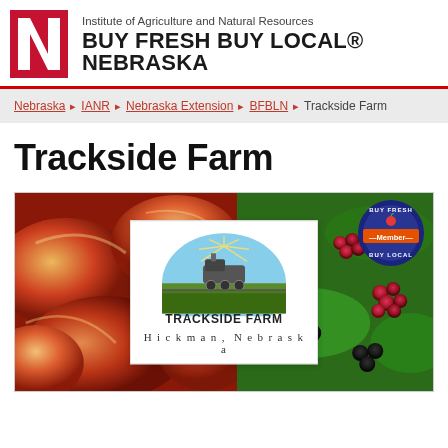Institute of Agriculture and Natural Resources BUY FRESH BUY LOCAL® NEBRASKA
Nebraska › IANR › Nebraska Extension › BFBLN › Trackside Farm
Trackside Farm
[Figure (photo): Composite image: left side shows colorful striped red and yellow tomatoes, right side shows raspberries and blackberries on a green leafy vine. Overlaid center logo for Trackside Farm, Hickman, Nebraska with a steam train graphic. Buy Fresh Buy Local Member badge in top right corner.]